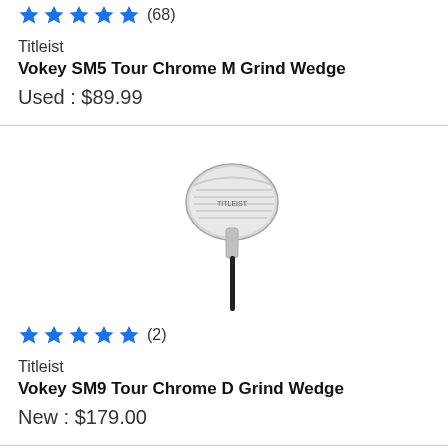[Figure (other): Five blue star rating icons with review count (68)]
Titleist
Vokey SM5 Tour Chrome M Grind Wedge
Used : $89.99
[Figure (photo): Titleist Vokey SM9 Tour Chrome D Grind Wedge golf club product image, silver/chrome finish, view of club head and shaft]
[Figure (other): Five blue star rating icons with review count (2)]
Titleist
Vokey SM9 Tour Chrome D Grind Wedge
New : $179.00
[Figure (photo): Partial view of another golf wedge club head at bottom of page, gold/bronze finish]